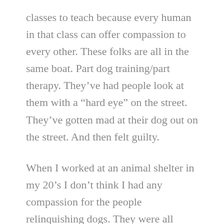classes to teach because every human in that class can offer compassion to every other. These folks are all in the same boat. Part dog training/part therapy. They've had people look at them with a “hard eye” on the street. They've gotten mad at their dog out on the street. And then felt guilty.
When I worked at an animal shelter in my 20’s I don’t think I had any compassion for the people relinquishing dogs. They were all “jerks” and “a**holes”. Trust me, a LOT of them were, but maybe they had a story too. Maybe a little compassion extended to them could have helped. Someone. Just a little. Maybe compassion towards that human could have helped that animal.
I sure hope that client who gave me the compliment found me as compassionate toward him as I was toward his dog.